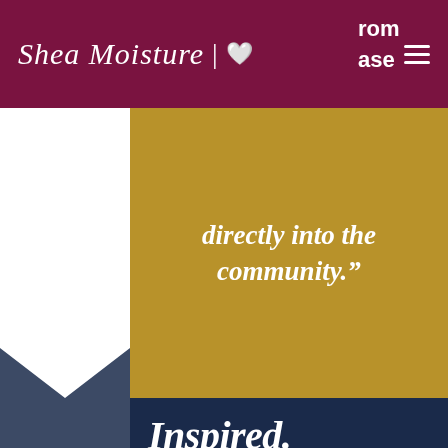[Figure (logo): SheaMoisture logo with script text and heart icon, white on maroon background]
rom
ase
directly into the community.”
Inspired.
TAYDRA MITCHELL JACKSON, the Head of Engagement and Global Innovation, leads all things marketing for Sundial Brands, with over two decades of multi-million dollar global brand leadership and founder-led entrepreneurial business development. Before joining the Sundial team, Mitchell Jackson led global brands in big